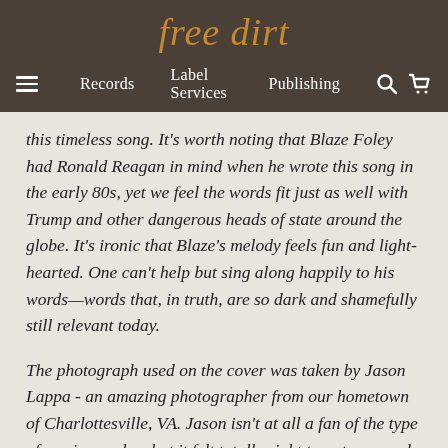free dirt
Records   Label Services   Publishing
this timeless song. It's worth noting that Blaze Foley had Ronald Reagan in mind when he wrote this song in the early 80s, yet we feel the words fit just as well with Trump and other dangerous heads of state around the globe. It's ironic that Blaze's melody feels fun and light-hearted. One can't help but sing along happily to his words—words that, in truth, are so dark and shamefully still relevant today.
The photograph used on the cover was taken by Jason Lappa - an amazing photographer from our hometown of Charlottesville, VA. Jason isn't at all a fan of the type of music we play, but it felt totally right to put our work side-by-side; it feels like a symbol for the need to join forces as